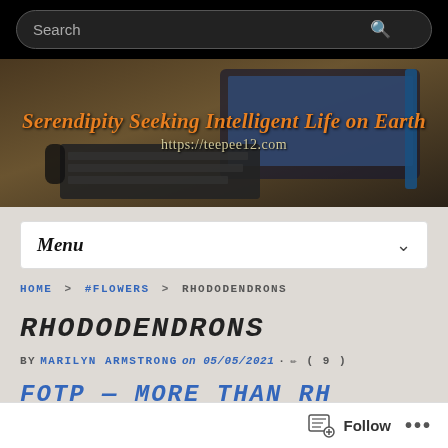Search
[Figure (screenshot): Blog banner image with laptop on a desk. Text reads: Serendipity Seeking Intelligent Life on Earth https://teepee12.com]
Menu
HOME > #FLOWERS > RHODODENDRONS
RHODODENDRONS
BY MARILYN ARMSTRONG on 05/05/2021 · (9)
FOTP — More than Rhododendrons
Follow ...